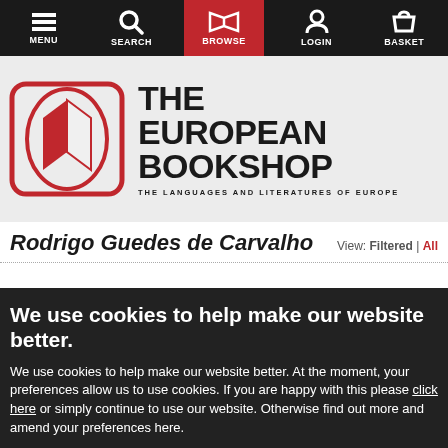MENU | SEARCH | BROWSE | LOGIN | BASKET
[Figure (logo): The European Bookshop logo with open book icon and text 'THE EUROPEAN BOOKSHOP - THE LANGUAGES AND LITERATURES OF EUROPE']
Rodrigo Guedes de Carvalho
View: Filtered | All
We use cookies to help make our website better.
We use cookies to help make our website better. At the moment, your preferences allow us to use cookies. If you are happy with this please click here or simply continue to use our website. Otherwise find out more and amend your preferences here.